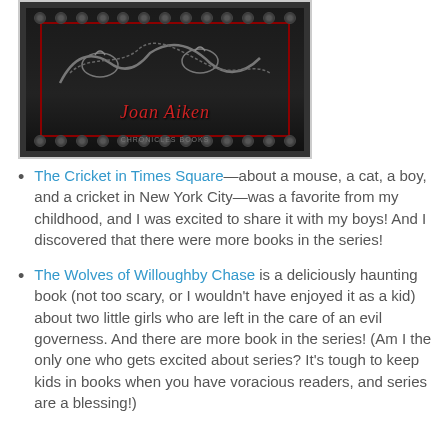[Figure (photo): Book cover of a Joan Aiken book — dark background with decorative circular dot border pattern, red inner border frame, red italic author name 'Joan Aiken' at bottom, and decorative animal figures near top]
The Cricket in Times Square—about a mouse, a cat, a boy, and a cricket in New York City—was a favorite from my childhood, and I was excited to share it with my boys! And I discovered that there were more books in the series!
The Wolves of Willoughby Chase is a deliciously haunting book (not too scary, or I wouldn't have enjoyed it as a kid) about two little girls who are left in the care of an evil governess. And there are more book in the series! (Am I the only one who gets excited about series? It's tough to keep kids in books when you have voracious readers, and series are a blessing!)